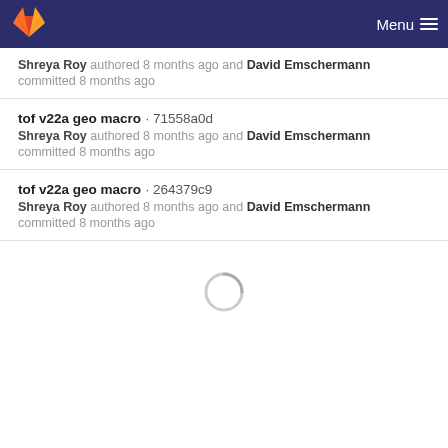GitLab Menu
Shreya Roy authored 8 months ago and David Emschermann committed 8 months ago
tof v22a geo macro · 71558a0d
Shreya Roy authored 8 months ago and David Emschermann committed 8 months ago
tof v22a geo macro · 264379c9
Shreya Roy authored 8 months ago and David Emschermann committed 8 months ago
[Figure (other): Loading spinner circle indicator]